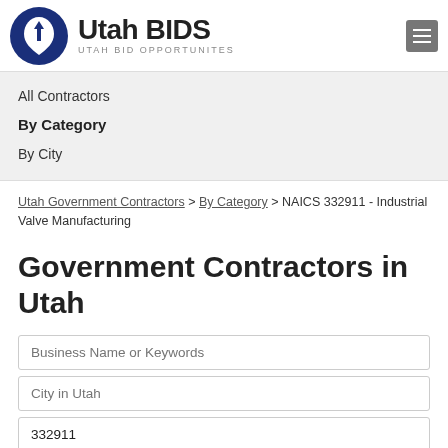[Figure (logo): Utah BIDS logo with circular dark blue Utah state icon and text 'Utah BIDS / UTAH BID OPPORTUNITES']
All Contractors
By Category
By City
Utah Government Contractors > By Category > NAICS 332911 - Industrial Valve Manufacturing
Government Contractors in Utah
Business Name or Keywords
City in Utah
332911